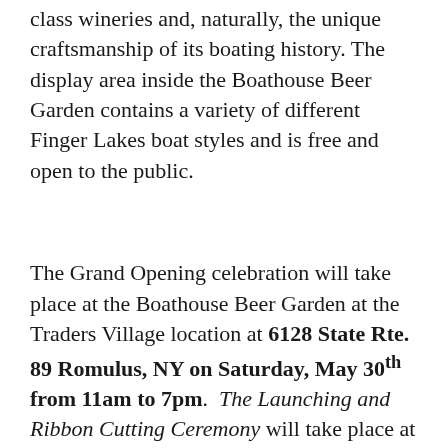class wineries and, naturally, the unique craftsmanship of its boating history. The display area inside the Boathouse Beer Garden contains a variety of different Finger Lakes boat styles and is free and open to the public.
The Grand Opening celebration will take place at the Boathouse Beer Garden at the Traders Village location at 6128 State Rte. 89 Romulus, NY on Saturday, May 30th from 11am to 7pm. The Launching and Ribbon Cutting Ceremony will take place at approximately 2pm.